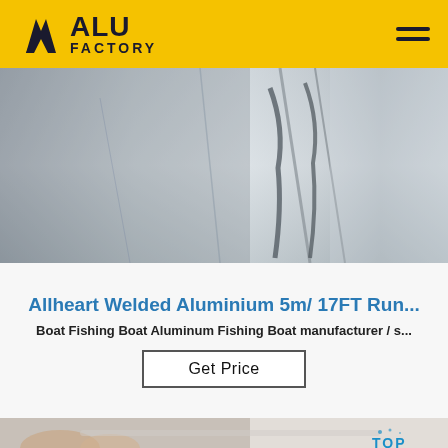[Figure (logo): ALU FACTORY logo with yellow background header bar and hamburger menu icon]
[Figure (photo): Close-up photo of welded aluminium boat hull showing metallic surface with welds]
Allheart Welded Aluminium 5m/ 17FT Run...
Boat Fishing Boat Aluminum Fishing Boat manufacturer / s...
Get Price
[Figure (photo): Close-up photo of hands holding a syringe or pen near white fabric surface, with blue TOP watermark badge in corner]